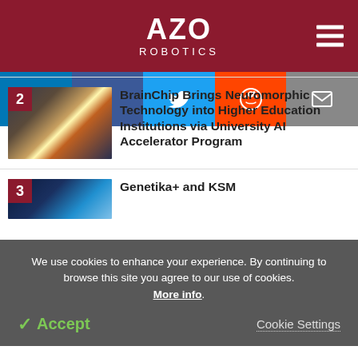AZO ROBOTICS
[Figure (infographic): Social media sharing buttons: LinkedIn, Facebook, Twitter, Reddit, Email]
[Figure (photo): Robotic arm with sparks, article #2 thumbnail]
BrainChip Brings Neuromorphic Technology into Higher Education Institutions via University AI Accelerator Program
[Figure (photo): Blue technology image, article #3 thumbnail]
Genetika+ and KSM
We use cookies to enhance your experience. By continuing to browse this site you agree to our use of cookies. More info.
Accept   Cookie Settings